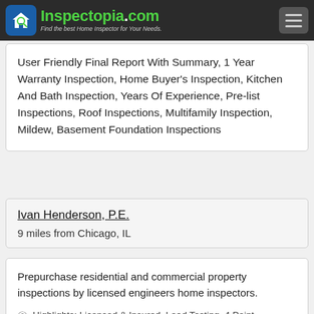Inspectopia.com — Find the best Home Inspector for Your Needs.
User Friendly Final Report With Summary, 1 Year Warranty Inspection, Home Buyer's Inspection, Kitchen And Bath Inspection, Years Of Experience, Pre-list Inspections, Roof Inspections, Multifamily Inspection, Mildew, Basement Foundation Inspections
Ivan Henderson, P.E.
9 miles from Chicago, IL
Prepurchase residential and commercial property inspections by licensed engineers home inspectors.
Highlights: Licensed & Insured, Lead Testing, 4 Point Insurance & Property Inspections, Pre-